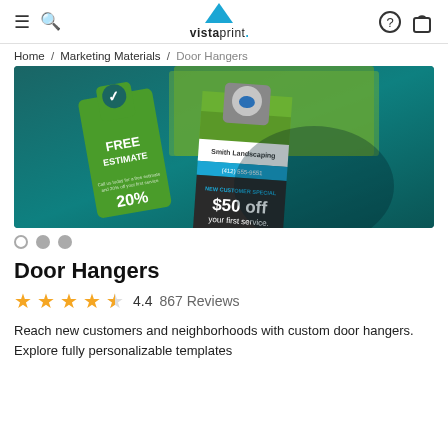Vistaprint navigation header with hamburger menu, search, logo, help and cart icons
Home / Marketing Materials / Door Hangers
[Figure (photo): Hero product photo showing two door hanger samples on teal background: one green with FREE ESTIMATE and checkmark, one dark with Smith Landscaping branding and '$50 off your first service' new customer special]
Door Hangers
4.4  867 Reviews
Reach new customers and neighborhoods with custom door hangers. Explore fully personalizable templates